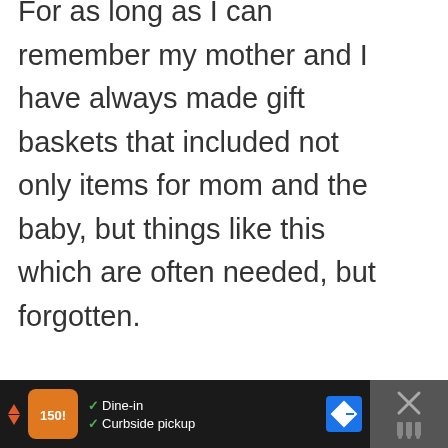For as long as I can remember my mother and I have always made gift baskets that included not only items for mom and the baby, but things like this which are often needed, but forgotten.
Reply
BRIANNE MANZ
MAY 31, 2017 AT 11:57 AM
[Figure (screenshot): Ad bar at bottom with restaurant logo, dine-in and curbside pickup text, map/directions icon, and close button]